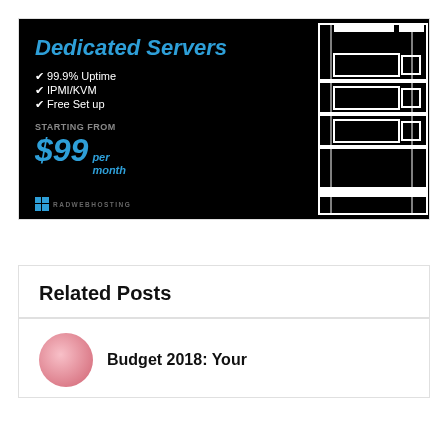[Figure (infographic): Dedicated Servers advertisement banner with black background. Shows title 'Dedicated Servers' in blue italic bold text. Lists features: 99.9% Uptime, IPMI/KVM, Free Set up. Price starting from $99 per month. RadWebHosting logo at bottom left. Server rack illustration on right side.]
Related Posts
Budget 2018: Your